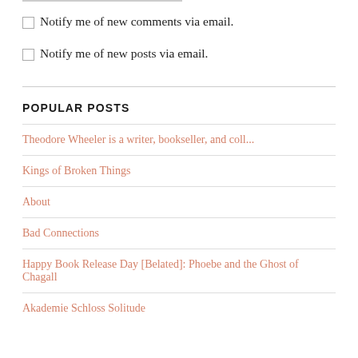Notify me of new comments via email.
Notify me of new posts via email.
POPULAR POSTS
Theodore Wheeler is a writer, bookseller, and coll...
Kings of Broken Things
About
Bad Connections
Happy Book Release Day [Belated]: Phoebe and the Ghost of Chagall
Akademie Schloss Solitude